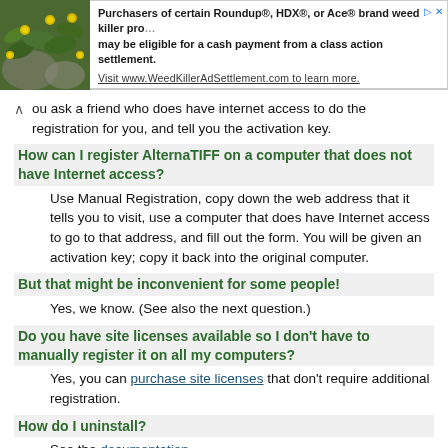[Figure (infographic): Advertisement banner with a photo of yellow flowers and green leaves on the left, and ad text on the right: 'Purchasers of certain Roundup®, HDX®, or Ace® brand weed killer products may be eligible for a cash payment from a class action settlement. Visit www.WeedKillerAdSettlement.com to learn more.']
ou ask a friend who does have internet access to do the registration for you, and tell you the activation key.
How can I register AlternaTIFF on a computer that does not have Internet access?
Use Manual Registration, copy down the web address that it tells you to visit, use a computer that does have Internet access to go to that address, and fill out the form. You will be given an activation key; copy it back into the original computer.
But that might be inconvenient for some people!
Yes, we know. (See also the next question.)
Do you have site licenses available so I don't have to manually register it on all my computers?
Yes, you can purchase site licenses that don't require additional registration.
How do I uninstall?
See the documentation.